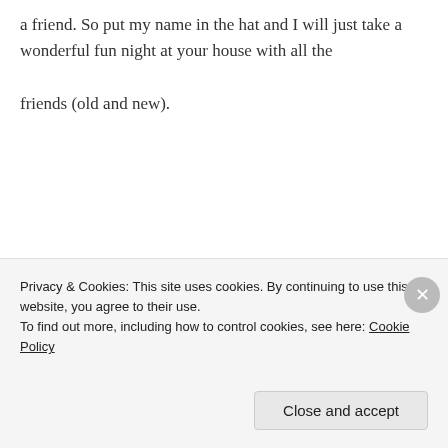a friend. So put my name in the hat and I will just take a wonderful fun night at your house with all the friends (old and new).
★ Like
REPLY
[Figure (photo): Circular avatar photo of a woman with dark hair]
apronsandappetites
Privacy & Cookies: This site uses cookies. By continuing to use this website, you agree to their use. To find out more, including how to control cookies, see here: Cookie Policy
Close and accept